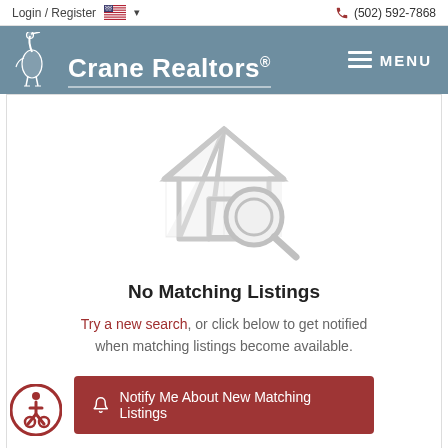Login / Register  🇺🇸 ▾   (502) 592-7868
[Figure (logo): Crane Realtors logo with heron bird icon and MENU button]
[Figure (illustration): House with magnifying glass icon indicating no search results]
No Matching Listings
Try a new search, or click below to get notified when matching listings become available.
🔔 Notify Me About New Matching Listings
[Figure (illustration): Accessibility icon - person in wheelchair]